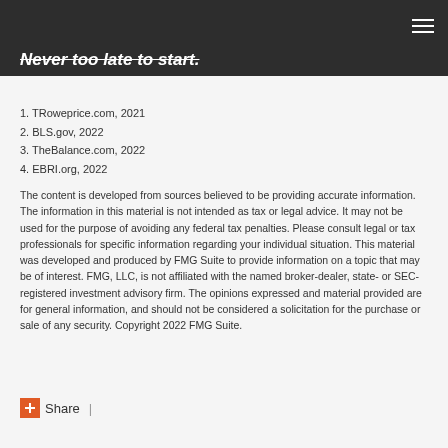Never too late to start.
1. TRoweprice.com, 2021
2. BLS.gov, 2022
3. TheBalance.com, 2022
4. EBRI.org, 2022
The content is developed from sources believed to be providing accurate information. The information in this material is not intended as tax or legal advice. It may not be used for the purpose of avoiding any federal tax penalties. Please consult legal or tax professionals for specific information regarding your individual situation. This material was developed and produced by FMG Suite to provide information on a topic that may be of interest. FMG, LLC, is not affiliated with the named broker-dealer, state- or SEC-registered investment advisory firm. The opinions expressed and material provided are for general information, and should not be considered a solicitation for the purchase or sale of any security. Copyright 2022 FMG Suite.
Share |